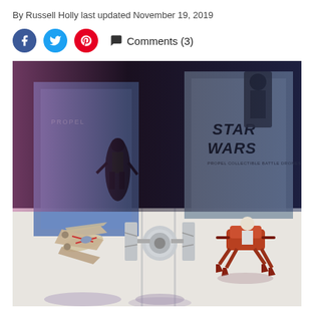By Russell Holly last updated November 19, 2019
Comments (3)
[Figure (photo): Three Star Wars Propel drone toys displayed on a white surface in front of their packaging boxes. From left to right: an X-Wing fighter drone, a TIE Fighter drone in the center, and an orange speeder bike/AT-AT style drone on the right. The background shows two open Star Wars branded boxes with a dark figurine visible.]